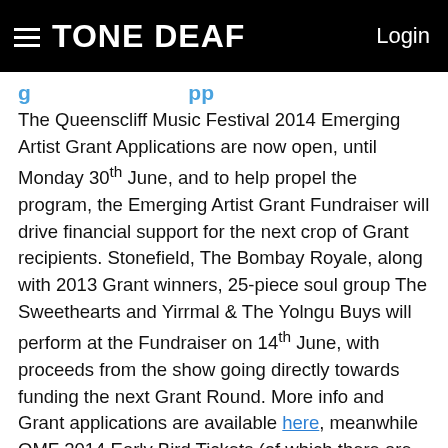TONE DEAF  Login
[partial heading clipped at top]
The Queenscliff Music Festival 2014 Emerging Artist Grant Applications are now open, until Monday 30th June, and to help propel the program, the Emerging Artist Grant Fundraiser will drive financial support for the next crop of Grant recipients. Stonefield, The Bombay Royale, along with 2013 Grant winners, 25-piece soul group The Sweethearts and Yirrmal & The Yolngu Buys will perform at the Fundraiser on 14th June, with proceeds from the show going directly towards funding the next Grant Round. More info and Grant applications are available here, meanwhile QMF 2014 Early Bird Tickets (of which there are only 200 left) are available here.
Farmer & The Owl Form New Record Label, Launch With Compilation Release
Wollongong music collective Farmer & The Owl have kickstarted their very own record label, named F//O. The